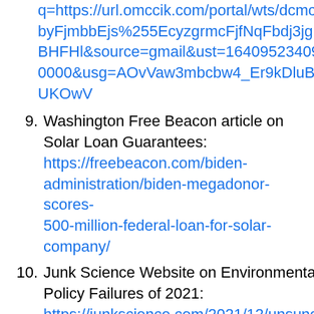(URL continuation) q=https://url.omccik.com/portal/wts/dcmcmsByFjmbbEjs%255EcyzgrmcFjfNqFbdj3jgnzBHFHl&source=gmail&ust=16409523409900000&usg=AOvVaw3mbcbw4_Er9kDluBBUKOwV
9. Washington Free Beacon article on Solar Loan Guarantees: https://freebeacon.com/biden-administration/biden-megadonor-scores-500-million-federal-loan-for-solar-company/
10. Junk Science Website on Environmental Policy Failures of 2021: https://junkscience.com/2021/12/unsung-success-the-top-10-environmental-policy-list...